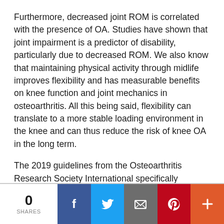Furthermore, decreased joint ROM is correlated with the presence of OA. Studies have shown that joint impairment is a predictor of disability, particularly due to decreased ROM. We also know that maintaining physical activity through midlife improves flexibility and has measurable benefits on knee function and joint mechanics in osteoarthritis. All this being said, flexibility can translate to a more stable loading environment in the knee and can thus reduce the risk of knee OA in the long term.
The 2019 guidelines from the Osteoarthritis Research Society International specifically recommend yoga for individuals with hip or knee OA, as being “effective and safe.”
0 SHARES | Facebook | Twitter | Email | Pinterest | More